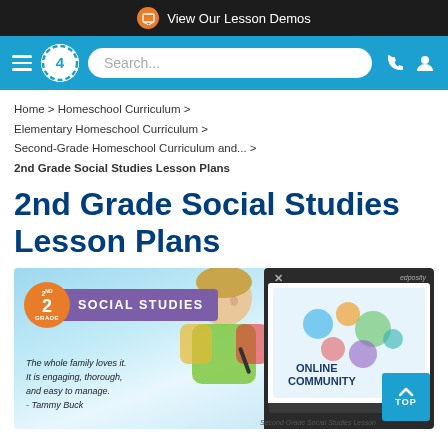View Our Lesson Demos
[Figure (screenshot): Navigation bar with hamburger menu, logo with '4', search bar, phone and user icons on blue background]
Home > Homeschool Curriculum > Elementary Homeschool Curriculum > Second-Grade Homeschool Curriculum and... > 2nd Grade Social Studies Lesson Plans
2nd Grade Social Studies Lesson Plans
[Figure (photo): Promotional banner for 2nd Grade Social Studies showing a child writing with a laptop displaying 'Online Community', with a quote: 'The whole family loves it. It is engaging, thorough, and easy to manage. - Tammy Buck']